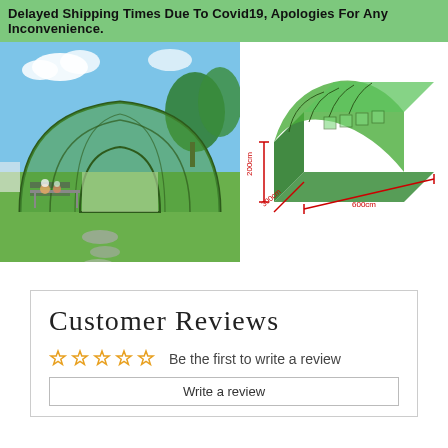Delayed Shipping Times Due To Covid19, Apologies For Any Inconvenience.
[Figure (photo): Photo of a green tunnel greenhouse with plants inside, set on a green lawn with garden furniture]
[Figure (infographic): Diagram of a green tunnel greenhouse with red dimension lines showing 200cm height, 300cm width, 600cm length]
Customer Reviews
Be the first to write a review
Write a review